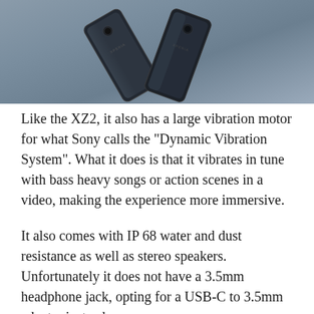[Figure (photo): Sony Xperia smartphone shown from the back, in a dark chrome color, displayed against a gray-blue background. The Xperia branding is visible on the device.]
Like the XZ2, it also has a large vibration motor for what Sony calls the "Dynamic Vibration System". What it does is that it vibrates in tune with bass heavy songs or action scenes in a video, making the experience more immersive.
It also comes with IP 68 water and dust resistance as well as stereo speakers. Unfortunately it does not have a 3.5mm headphone jack, opting for a USB-C to 3.5mm adapter instead.
It will be available in Chrome Black and Chrome Silver colors.